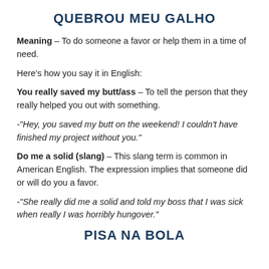QUEBROU MEU GALHO
Meaning – To do someone a favor or help them in a time of need.
Here's how you say it in English:
You really saved my butt/ass – To tell the person that they really helped you out with something.
-"Hey, you saved my butt on the weekend! I couldn't have finished my project without you."
Do me a solid (slang) – This slang term is common in American English. The expression implies that someone did or will do you a favor.
-"She really did me a solid and told my boss that I was sick when really I was horribly hungover."
PISA NA BOLA